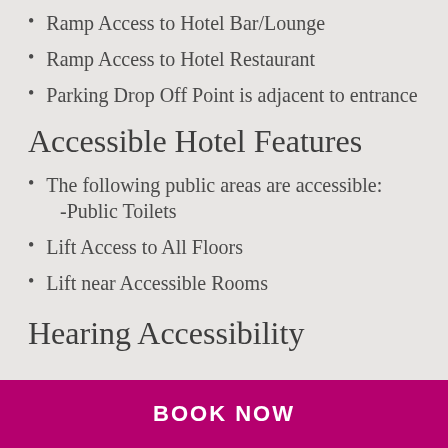Ramp Access to Hotel Bar/Lounge
Ramp Access to Hotel Restaurant
Parking Drop Off Point is adjacent to entrance
Accessible Hotel Features
The following public areas are accessible:
-Public Toilets
Lift Access to All Floors
Lift near Accessible Rooms
Hearing Accessibility
BOOK NOW